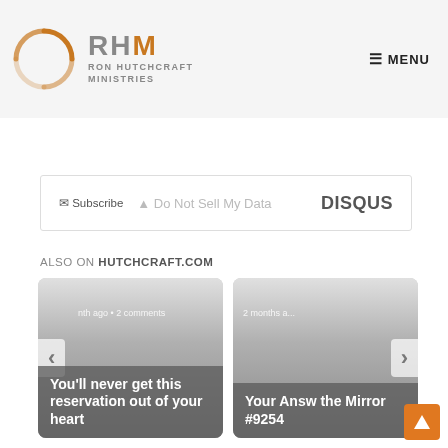RHM RON HUTCHCRAFT MINISTRIES | MENU
Subscribe   Do Not Sell My Data   DISQUS
ALSO ON HUTCHCRAFT.COM
[Figure (screenshot): Card: 1 month ago • 2 comments — You'll never get this reservation out of your heart]
[Figure (screenshot): Card: 2 months ago — Your Answ... the Mirror #9254]